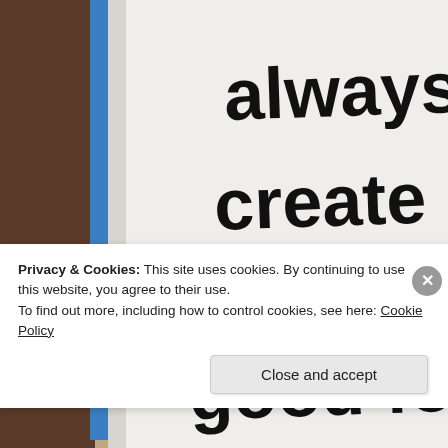[Figure (photo): A photo of a white notebook or paper with large handwritten black text reading 'always create it is good fo[r] [y]ours' with a blue spine/binding visible on the left side. Background is brownish/tan. The text is partially cropped on the right and bottom.]
Privacy & Cookies: This site uses cookies. By continuing to use this website, you agree to their use.
To find out more, including how to control cookies, see here: Cookie Policy
Close and accept